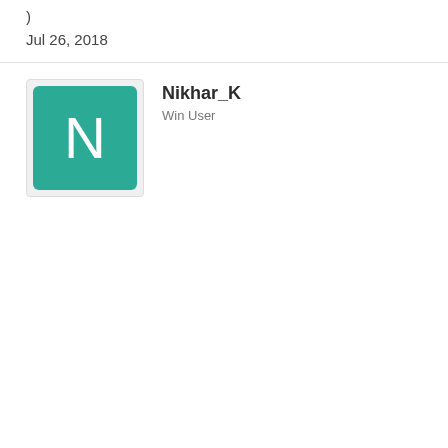)
Jul 26, 2018
[Figure (illustration): User avatar: teal/green square with rounded corners containing white letter N, inside a light gray bordered card]
Nikhar_K
Win User